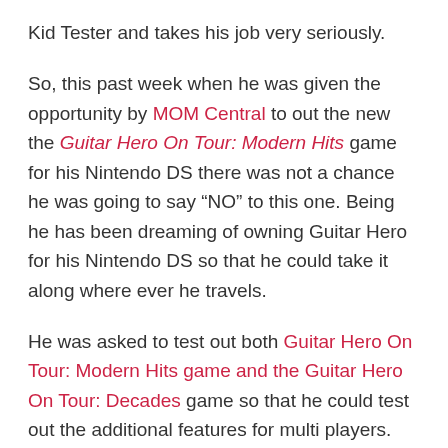Kid Tester and takes his job very seriously.
So, this past week when he was given the opportunity by MOM Central to out the new the Guitar Hero On Tour: Modern Hits game for his Nintendo DS there was not a chance he was going to say “NO” to this one. Being he has been dreaming of owning Guitar Hero for his Nintendo DS so that he could take it along where ever he travels.
He was asked to test out both Guitar Hero On Tour: Modern Hits game and the Guitar Hero On Tour: Decades game so that he could test out the additional features for multi players. Not only did he get his brother to play with him he even recruited neighbor kids to test out the multi player mode using both games as they competed against one